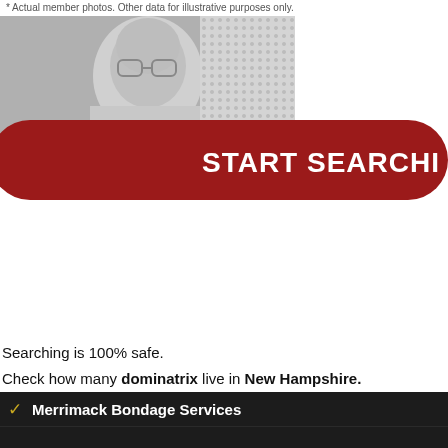* Actual member photos. Other data for illustrative purposes only.
[Figure (photo): Blurred/greyscale photo of a person, partially visible, as a background image]
[Figure (infographic): Red rounded banner with text 'START SEARCHING' in bold white]
Searching is 100% safe.
Check how many dominatrix live in New Hampshire.
Merrimack Bondage Services
Merrimack Dominatrix Services
Merrimack Domme Services
Merrimack Dominant Services
Merrimack Fetish Services
Merrimack Mistress Services!
Merrimack BDSM Services